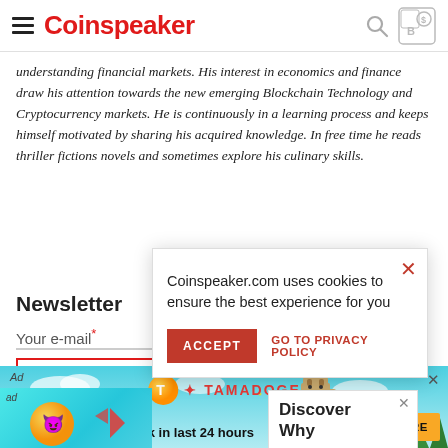Coinspeaker
understanding financial markets. His interest in economics and finance draw his attention towards the new emerging Blockchain Technology and Cryptocurrency markets. He is continuously in a learning process and keeps himself motivated by sharing his acquired knowledge. In free time he reads thriller fictions novels and sometimes explore his culinary skills.
Newsletter
Your e-mail *
Coinspeaker.com uses cookies to ensure the best experience for you
ACCEPT
GO TO PRIVACY POLICY
Discover Why
[Figure (screenshot): Tamadoge advertisement banner with logo, coin graphic, and text 'Tamadoge raises $500k in last 24 hours' with READ MORE button]